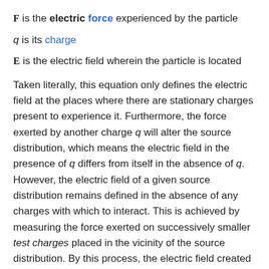F is the electric force experienced by the particle
q is its charge
E is the electric field wherein the particle is located
Taken literally, this equation only defines the electric field at the places where there are stationary charges present to experience it. Furthermore, the force exerted by another charge q will alter the source distribution, which means the electric field in the presence of q differs from itself in the absence of q. However, the electric field of a given source distribution remains defined in the absence of any charges with which to interact. This is achieved by measuring the force exerted on successively smaller test charges placed in the vicinity of the source distribution. By this process, the electric field created by a given source distribution is defined as the limit as the test charge approaches zero of the force per unit charge exerted thereupon.